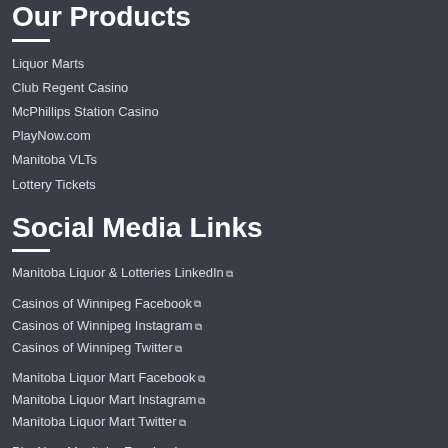Our Products
Liquor Marts
Club Regent Casino
McPhillips Station Casino
PlayNow.com
Manitoba VLTs
Lottery Tickets
Social Media Links
Manitoba Liquor & Lotteries LinkedIn
Casinos of Winnipeg Facebook
Casinos of Winnipeg Instagram
Casinos of Winnipeg Twitter
Manitoba Liquor Mart Facebook
Manitoba Liquor Mart Instagram
Manitoba Liquor Mart Twitter
PlayNow Manitoba Facebook